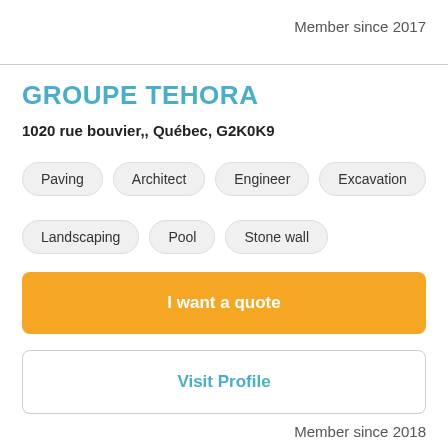Member since 2017
GROUPE TEHORA
1020 rue bouvier,, Québec, G2K0K9
Paving
Architect
Engineer
Excavation
Landscaping
Pool
Stone wall
I want a quote
Visit Profile
Member since 2018